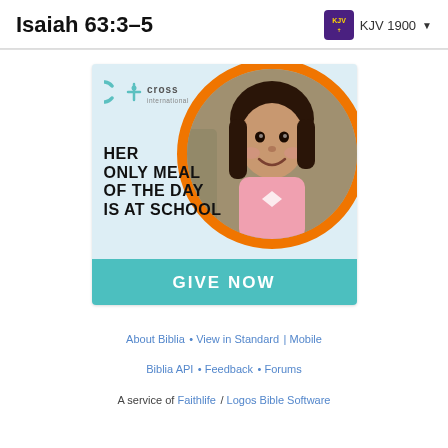Isaiah 63:3–5  KJV 1900
[Figure (illustration): Cross International charity advertisement. Shows a young girl smiling inside an orange circle frame on a light blue background. Text reads: HER ONLY MEAL OF THE DAY IS AT SCHOOL. Bottom teal bar says GIVE NOW. Cross International logo in top-left.]
About Biblia • View in Standard | Mobile
Biblia API • Feedback • Forums
A service of Faithlife / Logos Bible Software